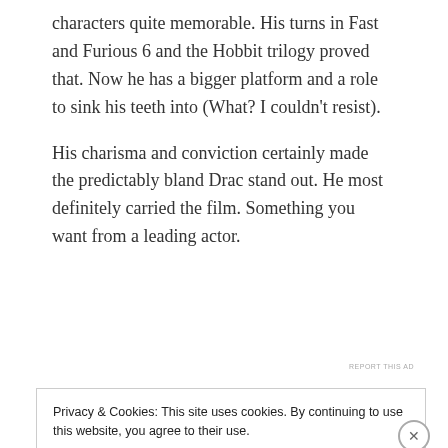characters quite memorable. His turns in Fast and Furious 6 and the Hobbit trilogy proved that. Now he has a bigger platform and a role to sink his teeth into (What? I couldn't resist).
His charisma and conviction certainly made the predictably bland Drac stand out. He most definitely carried the film. Something you want from a leading actor.
[Figure (other): Advertisement banner with pink circle logo, text 'TUMBLER FREE BROWSING' and price 'or $4.99 a month' on blue gradient background]
Privacy & Cookies: This site uses cookies. By continuing to use this website, you agree to their use.
To find out more, including how to control cookies, see here: Cookie Policy